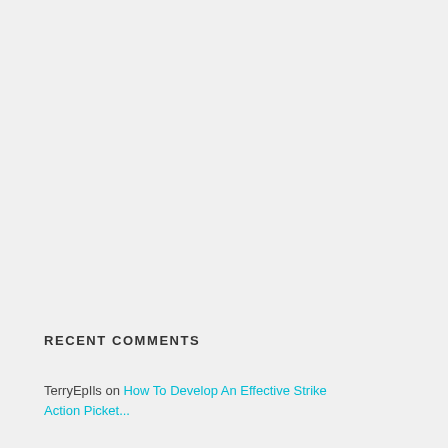RECENT COMMENTS
TerryEpIls on How To Develop An Effective Strike Action Picket...